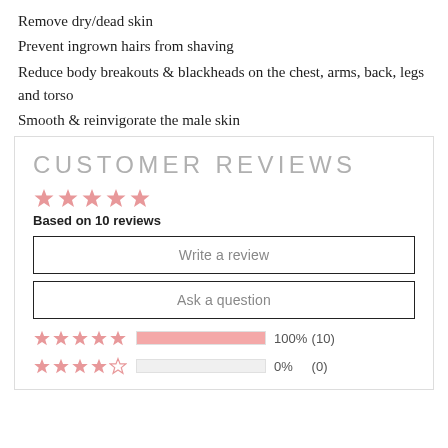Remove dry/dead skin
Prevent ingrown hairs from shaving
Reduce body breakouts & blackheads on the chest, arms, back, legs and torso
Smooth & reinvigorate the male skin
CUSTOMER REVIEWS
Based on 10 reviews
Write a review
Ask a question
100%  (10)
0%  (0)